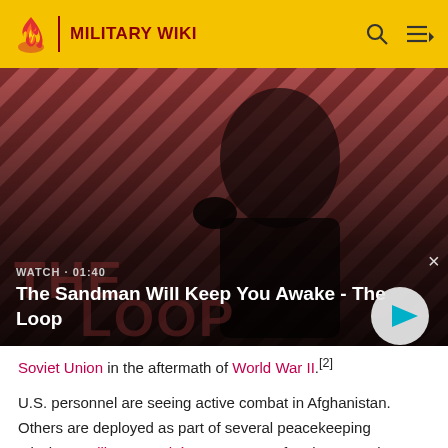MILITARY WIKI
[Figure (screenshot): Video thumbnail showing a dark-cloaked figure with a raven on shoulder against a red and black diagonal striped background. Video title: 'The Sandman Will Keep You Awake - The Loop'. Duration: 01:40. Play button visible.]
Soviet Union in the aftermath of World War II.[2]
U.S. personnel are seeing active combat in Afghanistan. Others are deployed as part of several peacekeeping missions, military attachés, or are part of embassy and